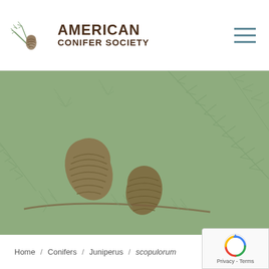AMERICAN CONIFER SOCIETY
[Figure (illustration): American Conifer Society logo with pine branch and cone illustration on the left, organization name in dark brown text on the right]
[Figure (illustration): Green banner with botanical illustration of pine cones and branches, muted sage green tones, decorative background]
Home / Conifers / Juniperus / scopulorum